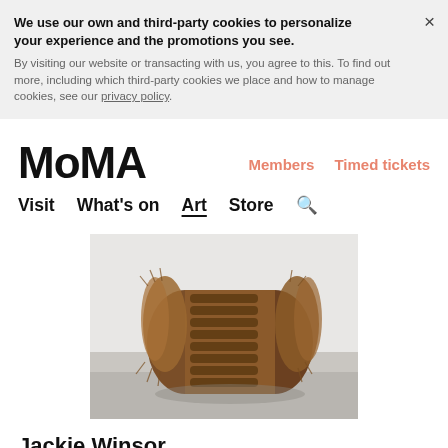We use our own and third-party cookies to personalize your experience and the promotions you see. By visiting our website or transacting with us, you agree to this. To find out more, including which third-party cookies we place and how to manage cookies, see our privacy policy.
MoMA
Members   Timed tickets
Visit   What's on   Art   Store
[Figure (photo): A sculpture made of rope coiled around a cylindrical form covered with brown fibrous material (likely sisal or similar), sitting on a concrete floor against a white gallery wall.]
Jackie Winsor